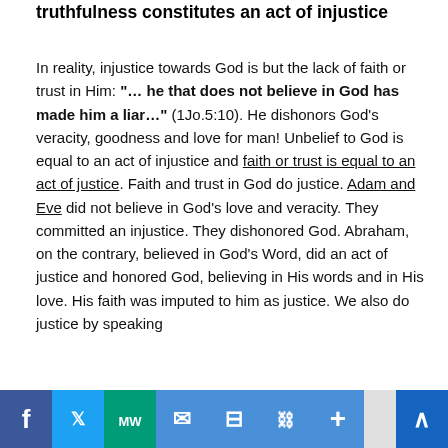truthfulness constitutes an act of injustice
In reality, injustice towards God is but the lack of faith or trust in Him: "… he that does not believe in God has made him a liar…" (1Jo.5:10). He dishonors God's veracity, goodness and love for man! Unbelief to God is equal to an act of injustice and faith or trust is equal to an act of justice. Faith and trust in God do justice. Adam and Eve did not believe in God's love and veracity. They committed an injustice. They dishonored God. Abraham, on the contrary, believed in God's Word, did an act of justice and honored God, believing in His words and in His love. His faith was imputed to him as justice. We also do justice by speaking truthfulness (…5…) sins
[social sharing toolbar]